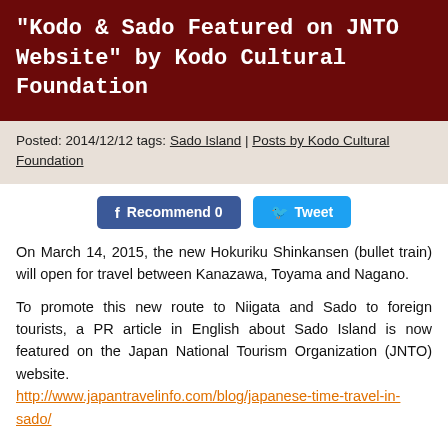“Kodo & Sado Featured on JNTO Website” by Kodo Cultural Foundation
Posted: 2014/12/12 tags: Sado Island | Posts by Kodo Cultural Foundation
[Figure (screenshot): Social sharing buttons: Facebook Recommend 0 and Twitter Tweet]
On March 14, 2015, the new Hokuriku Shinkansen (bullet train) will open for travel between Kanazawa, Toyama and Nagano.
To promote this new route to Niigata and Sado to foreign tourists, a PR article in English about Sado Island is now featured on the Japan National Tourism Organization (JNTO) website.
http://www.japantravelinfo.com/blog/japanese-time-travel-in-sado/